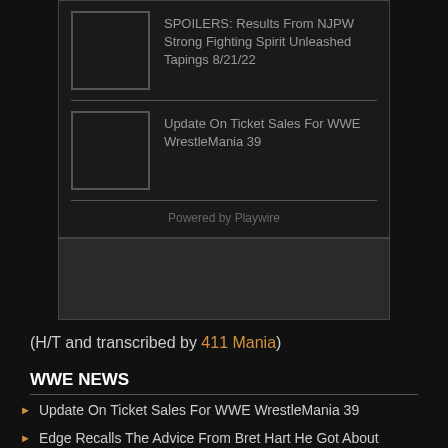[Figure (screenshot): Dark panel widget showing two article thumbnails with titles: 'SPOILERS: Results From NJPW Strong Fighting Spirit Unleashed Tapings 8/21/22' and 'Update On Ticket Sales For WWE WrestleMania 39', with 'Powered by Playwire' footer]
[Figure (other): Gray empty box below the dark panel]
(H/T and transcribed by 411 Mania)
WWE NEWS
Update On Ticket Sales For WWE WrestleMania 39
Edge Recalls The Advice From Bret Hart He Got About Becoming